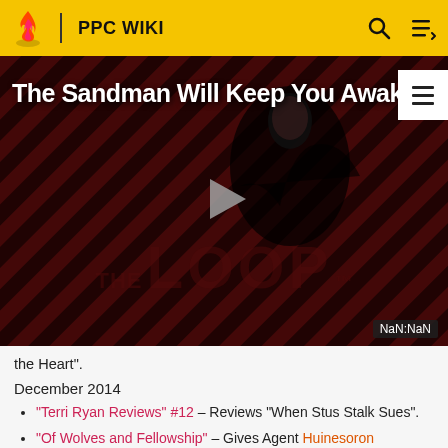PPC WIKI
[Figure (screenshot): Video thumbnail showing 'The Sandman Will Keep You Awake' with a dark figure in a striped background. 'THE LOOP' watermark is visible. A play button is centered. Time displays NaN:NaN.]
the Heart".
December 2014
"Terri Ryan Reviews" #12 – Reviews "When Stus Stalk Sues".
"Of Wolves and Fellowship" – Gives Agent Huinesoron